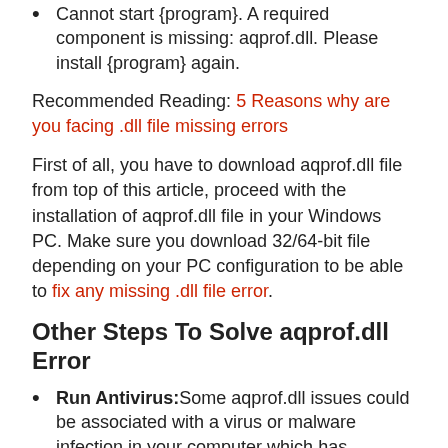Cannot start {program}. A required component is missing: aqprof.dll. Please install {program} again.
Recommended Reading: 5 Reasons why are you facing .dll file missing errors
First of all, you have to download aqprof.dll file from top of this article, proceed with the installation of aqprof.dll file in your Windows PC. Make sure you download 32/64-bit file depending on your PC configuration to be able to fix any missing .dll file error.
Other Steps To Solve aqprof.dll Error
Run Antivirus: Some aqprof.dll issues could be associated with a virus or malware infection in your computer which has damaged the aqprof.dll DLL file. It is possible the aqprof.dll error you are seeing is associated with a hostile program that is